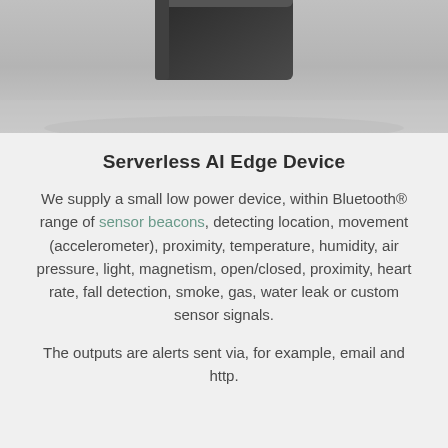[Figure (photo): Partial view of a dark device (top portion) against a gray background, cropped at top of page]
Serverless AI Edge Device
We supply a small low power device, within Bluetooth® range of sensor beacons, detecting location, movement (accelerometer), proximity, temperature, humidity, air pressure, light, magnetism, open/closed, proximity, heart rate, fall detection, smoke, gas, water leak or custom sensor signals.
The outputs are alerts sent via, for example, email and http.